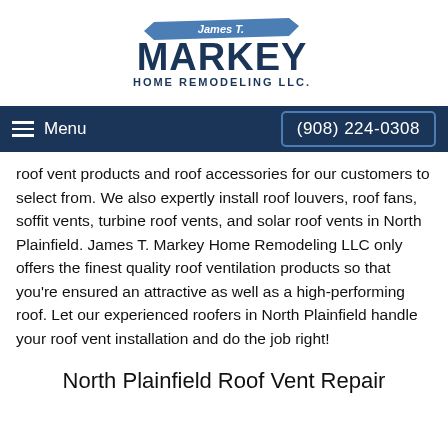[Figure (logo): James T. Markey Home Remodeling LLC logo — dark navy block letters 'MARKEY' with a blue banner reading 'James T.' across the top and 'HOME REMODELING LLC.' below]
≡ Menu   (908) 224-0308
roof vent products and roof accessories for our customers to select from. We also expertly install roof louvers, roof fans, soffit vents, turbine roof vents, and solar roof vents in North Plainfield. James T. Markey Home Remodeling LLC only offers the finest quality roof ventilation products so that you're ensured an attractive as well as a high-performing roof. Let our experienced roofers in North Plainfield handle your roof vent installation and do the job right!
North Plainfield Roof Vent Repair